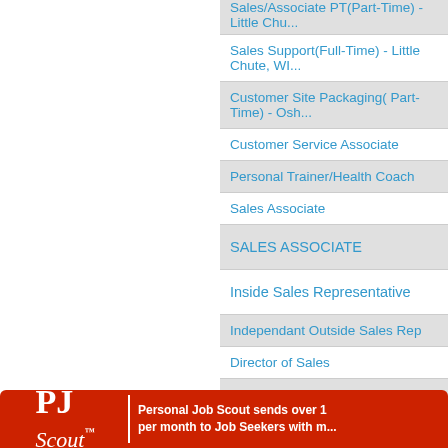Sales/Associate PT(Part-Time) - Little Chute...
Sales Support(Full-Time) - Little Chute, WI...
Customer Site Packaging( Part-Time) - Osh...
Customer Service Associate
Personal Trainer/Health Coach
Sales Associate
SALES ASSOCIATE
Inside Sales Representative
Independant Outside Sales Rep
Director of Sales
Inside Sales Representative
Sales Representative - Pharmacy Technolo...
View all Marketing Jobs / Sales Jobs
[Figure (logo): PJ Scout logo on red banner with text: Personal Job Scout sends over 1... per month to Job Seekers with m...]